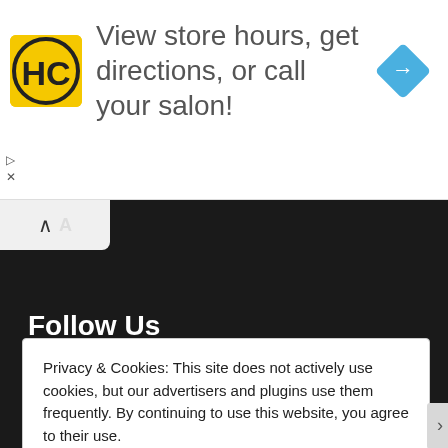[Figure (screenshot): Advertisement banner: HC salon logo (yellow square with black HC letters), text 'View store hours, get directions, or call your salon!', and a blue diamond-shaped navigation arrow icon on the right.]
[Figure (screenshot): Dark website footer section with a scroll-up button and 'Follow Us' heading with social media icons: Facebook, Twitter, Pinterest, YouTube, Instagram, Reddit.]
Privacy & Cookies: This site does not actively use cookies, but our advertisers and plugins use them frequently. By continuing to use this website, you agree to their use.
To find out more about our policies, go here: Privacy Policy
Close and accept